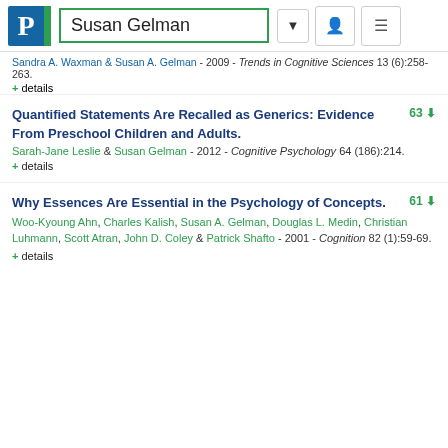Susan Gelman
Sandra A. Waxman & Susan A. Gelman - 2009 - Trends in Cognitive Sciences 13 (6):258-263.
+ details
Quantified Statements Are Recalled as Generics: Evidence From Preschool Children and Adults.
63
Sarah-Jane Leslie & Susan Gelman - 2012 - Cognitive Psychology 64 (186):214.
+ details
Why Essences Are Essential in the Psychology of Concepts.
61
Woo-Kyoung Ahn, Charles Kalish, Susan A. Gelman, Douglas L. Medin, Christian Luhmann, Scott Atran, John D. Coley & Patrick Shafto - 2001 - Cognition 82 (1):59-69.
+ details